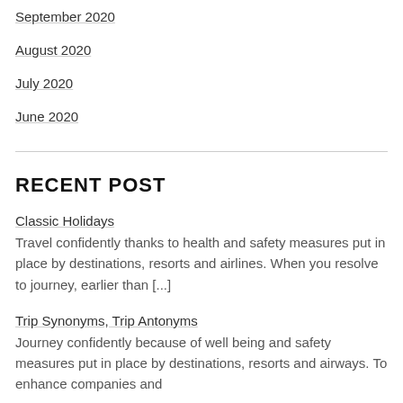September 2020
August 2020
July 2020
June 2020
RECENT POST
Classic Holidays
Travel confidently thanks to health and safety measures put in place by destinations, resorts and airlines. When you resolve to journey, earlier than [...]
Trip Synonyms, Trip Antonyms
Journey confidently because of well being and safety measures put in place by destinations, resorts and airways. To enhance companies and